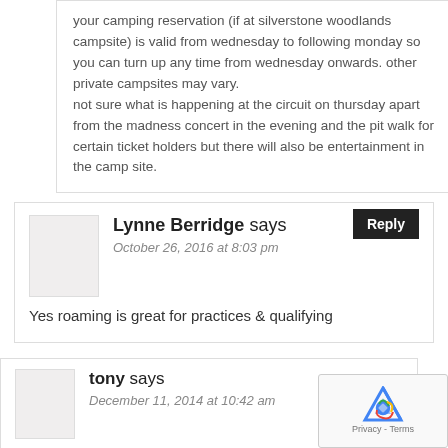your camping reservation (if at silverstone woodlands campsite) is valid from wednesday to following monday so you can turn up any time from wednesday onwards. other private campsites may vary.
not sure what is happening at the circuit on thursday apart from the madness concert in the evening and the pit walk for certain ticket holders but there will also be entertainment in the camp site.
Lynne Berridge says
October 26, 2016 at 8:03 pm
Yes roaming is great for practices & qualifying
tony says
December 11, 2014 at 10:42 am